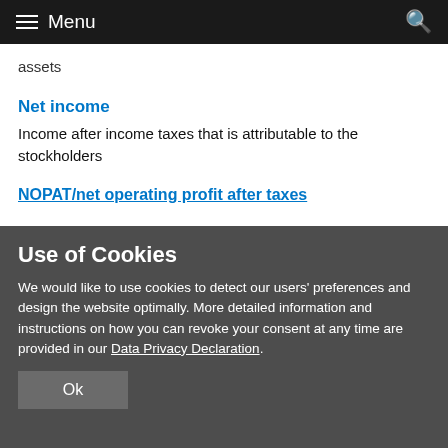Menu
assets
Net income
Income after income taxes that is attributable to the stockholders
NOPAT/net operating profit after taxes
Use of Cookies
We would like to use cookies to detect our users' preferences and design the website optimally. More detailed information and instructions on how you can revoke your consent at any time are provided in our Data Privacy Declaration.
Ok